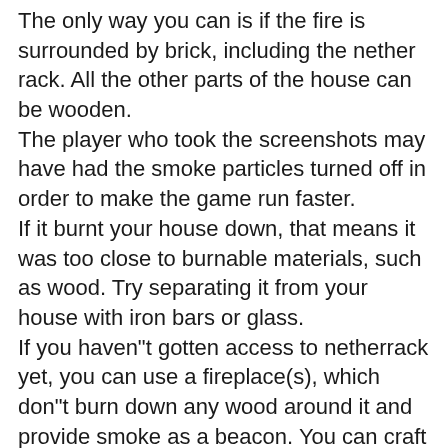The only way you can is if the fire is surrounded by brick, including the nether rack. All the other parts of the house can be wooden.
The player who took the screenshots may have had the smoke particles turned off in order to make the game run faster.
If it burnt your house down, that means it was too close to burnable materials, such as wood. Try separating it from your house with iron bars or glass.
If you haven"t gotten access to netherrack yet, you can use a fireplace(s), which don"t burn down any wood around it and provide smoke as a beacon. You can craft a campfire out of 3 logs, 3 sticks, and 1 piece of coal.
Clay is not a flammable material; the only flammable materials are essentially anything made out of wood.